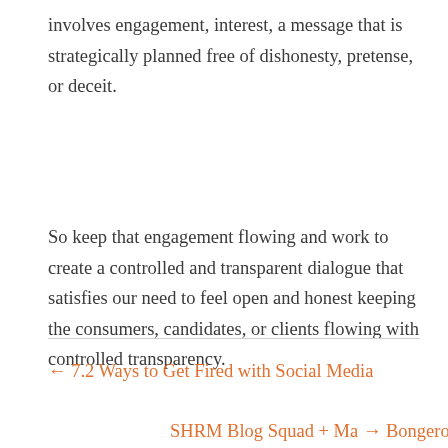involves engagement, interest, a message that is strategically planned free of dishonesty, pretense, or deceit.
So keep that engagement flowing and work to create a controlled and transparent dialogue that satisfies our need to feel open and honest keeping the consumers, candidates, or clients flowing with controlled transparency.
← 7.2 Ways to Get Fired with Social Media
SHRM Blog Squad + Ma → Bongerous